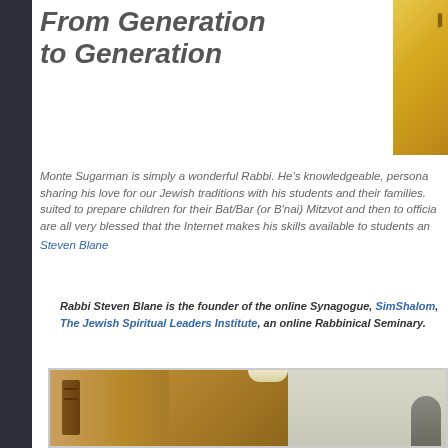From Generation to Generation
[Figure (illustration): Partial view of a yellow/gold decorative image with Hebrew character, top right corner]
Monte Sugarman is simply a wonderful Rabbi. He's knowledgeable, personable, sharing his love for our Jewish traditions with his students and their families. He is perfectly suited to prepare children for their Bat/Bar (or B'nai) Mitzvot and then to officiate. We are all very blessed that the Internet makes his skills available to students and...
Steven Blane
Rabbi Steven Blane is the founder of the online Synagogue, SimShalom, and The Jewish Spiritual Leaders Institute, an online Rabbinical Seminary.
[Figure (photo): Interior photo showing wooden doors with arch and shelving, a lighted area, and partial view of a person on the right]